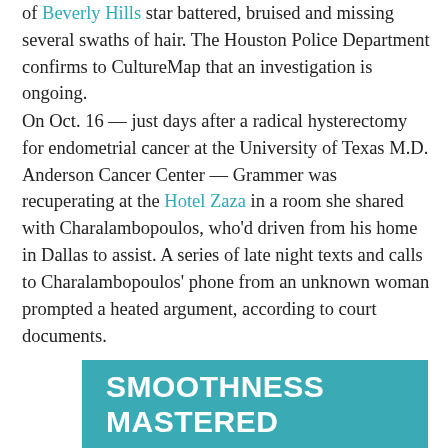of Beverly Hills star battered, bruised and missing several swaths of hair. The Houston Police Department confirms to CultureMap that an investigation is ongoing.
On Oct. 16 — just days after a radical hysterectomy for endometrial cancer at the University of Texas M.D. Anderson Cancer Center — Grammer was recuperating at the Hotel Zaza in a room she shared with Charalambopoulos, who'd driven from his home in Dallas to assist. A series of late night texts and calls to Charalambopoulos' phone from an unknown woman prompted a heated argument, according to court documents.
[Figure (other): Advertisement banner with teal background reading 'SMOOTHNESS MASTERED' in bold white uppercase text]